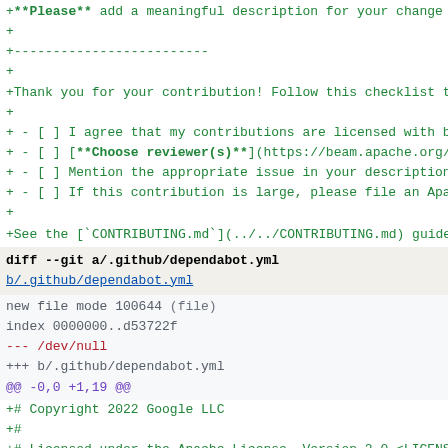+**Please** add a meaningful description for your change he
+
+-------------------------
+
+Thank you for your contribution! Follow this checklist to h
+
+ - [ ] I agree that my contributions are licensed with both
+ - [ ] [**Choose reviewer(s)**](https://beam.apache.org/con
+ - [ ] Mention the appropriate issue in your description (f
+ - [ ] If this contribution is large, please file an Apache
+
+See the [`CONTRIBUTING.md`](../../CONTRIBUTING.md) guide fo
diff --git a/.github/dependabot.yml b/.github/dependabot.yml
new file mode 100644 (file)
index 0000000..d53722f
--- /dev/null
+++ b/.github/dependabot.yml
@@ -0,0 +1,19 @@
+# Copyright 2022 Google LLC
+#
+# Licensed under the Apache License, Version 2.0 <LICENSE-A
+# https://www.apache.org/licenses/LICENSE-2.0> or the MIT l
+# <LICENSE-MIT or https://opensource.org/licenses/MIT>, at
+# option. This file may not be copied, modified, or distrib
+# except according to those terms.
+
+version: 2
+updates:
+  - package-ecosystem: "gradle"
+    directory: "/"